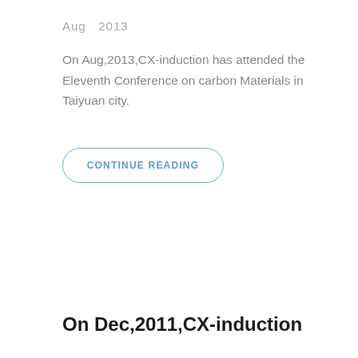Aug  2013
On Aug,2013,CX-induction has attended the Eleventh Conference on carbon Materials in Taiyuan city.
CONTINUE READING
On Dec,2011,CX-induction